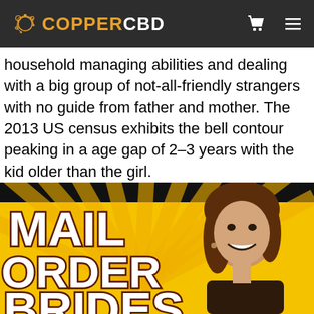COPPERCBD
household managing abilities and dealing with a big group of not-all-friendly strangers with no guide from father and mother. The 2013 US census exhibits the bell contour peaking in a age gap of 2–3 years with the kid older than the girl.
[Figure (photo): Advertisement image with yellow sunburst background showing text 'MAIL ORDER BRIDES' in large brown-outlined white Impact font on the left, and a smiling young woman with brown hair on the right side.]